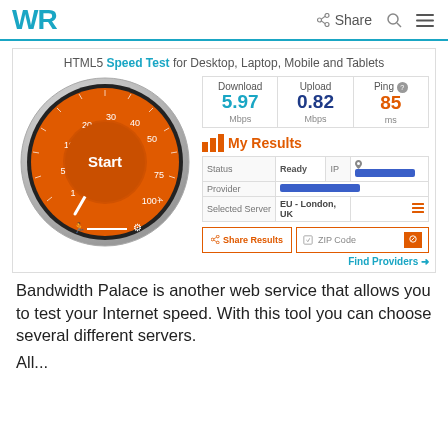WR  Share  [search icon]  [menu icon]
[Figure (screenshot): HTML5 Speed Test interface showing a speedometer gauge set to Start, Download: 5.97 Mbps, Upload: 0.82 Mbps, Ping: 85 ms, Status: Ready, IP redacted, Provider redacted, Selected Server: EU - London, UK, with Share Results and ZIP Code buttons and Find Providers link]
Bandwidth Palace is another web service that allows you to test your Internet speed. With this tool you can choose several different servers.
All...